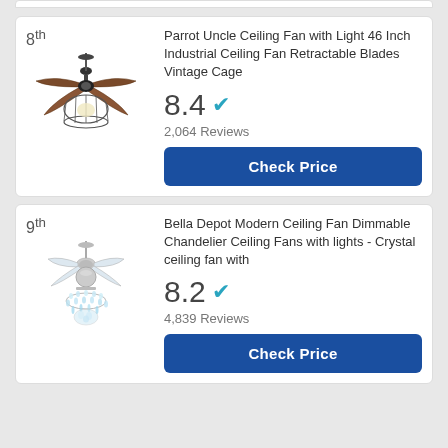8th
[Figure (illustration): Industrial ceiling fan with retractable blades and vintage cage light, dark finish with wooden blades]
Parrot Uncle Ceiling Fan with Light 46 Inch Industrial Ceiling Fan Retractable Blades Vintage Cage
8.4 ✓
2,064 Reviews
Check Price
9th
[Figure (illustration): Modern crystal chandelier ceiling fan with chrome finish and retractable blades]
Bella Depot Modern Ceiling Fan Dimmable Chandelier Ceiling Fans with lights - Crystal ceiling fan with
8.2 ✓
4,839 Reviews
Check Price